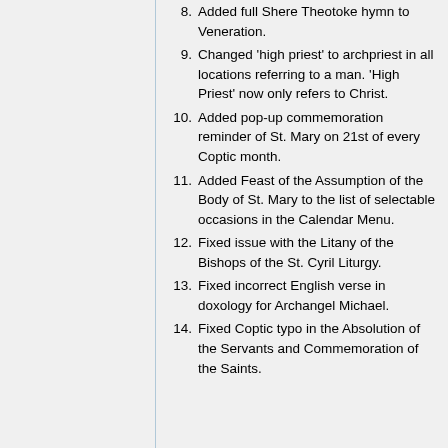8. Added full Shere Theotoke hymn to Veneration.
9. Changed 'high priest' to archpriest in all locations referring to a man. 'High Priest' now only refers to Christ.
10. Added pop-up commemoration reminder of St. Mary on 21st of every Coptic month.
11. Added Feast of the Assumption of the Body of St. Mary to the list of selectable occasions in the Calendar Menu.
12. Fixed issue with the Litany of the Bishops of the St. Cyril Liturgy.
13. Fixed incorrect English verse in doxology for Archangel Michael.
14. Fixed Coptic typo in the Absolution of the Servants and Commemoration of the Saints.